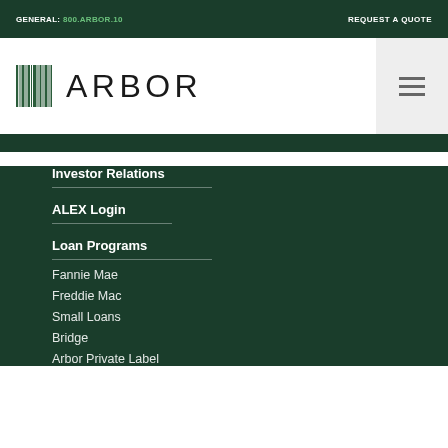GENERAL: 800.ARBOR.10  REQUEST A QUOTE
[Figure (logo): Arbor company logo with barcode-style graphic and ARBOR wordmark]
Investor Relations
ALEX Login
Loan Programs
Fannie Mae
Freddie Mac
Small Loans
Bridge
Arbor Private Label